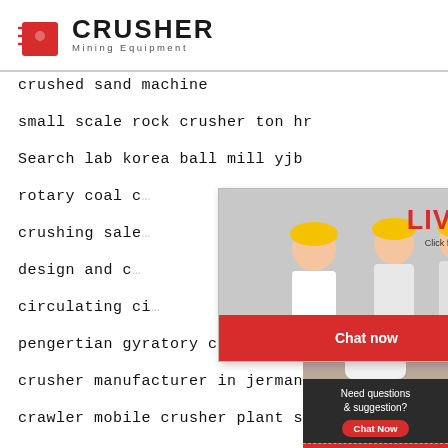[Figure (logo): Crusher Mining Equipment logo with red shopping bag icon and bold black CRUSHER text]
crushed sand machine
small scale rock crusher ton hr
Search lab korea ball mill yjb
rotary coal c...
crushing sale...
design and c...
circulating ci...
pengertian gyratory crusher Search
crusher manufacturer in jermany
crawler mobile crusher plant supplier in ethio...
used crusher in philippines
used jaw crusher for iron ore
[Figure (infographic): Live Chat popup overlay with workers in hard hats background, LIVE CHAT title in red, Click for a Free Consultation subtitle, Chat now (red) and Chat later (dark) buttons]
[Figure (infographic): Right sidebar with 24Hrs Online red bar, female customer service agent photo with headset, Need questions & suggestion dark box with Chat Now red button, Enquiry red section, limingjlmofen@sina.com email contact]